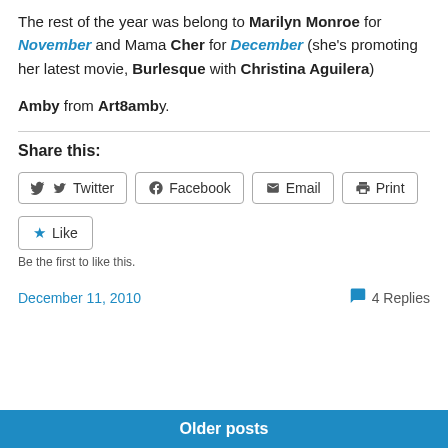The rest of the year was belong to Marilyn Monroe for November and Mama Cher for December (she's promoting her latest movie, Burlesque with Christina Aguilera)
Amby from Art8amby.
Share this:
Twitter  Facebook  Email  Print
Like
Be the first to like this.
December 11, 2010    4 Replies
Older posts